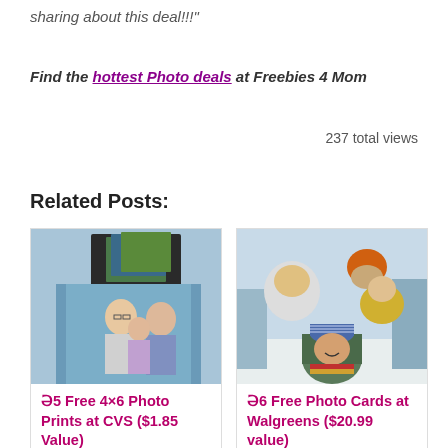sharing about this deal!!!”
Find the hottest Photo deals at Freebies 4 Mom
237 total views
Related Posts:
[Figure (photo): Family photo prints promotional image showing a family of three (man, woman, child) standing in front of printed photos]
Ə5 Free 4×6 Photo Prints at CVS ($1.85 Value)
[Figure (photo): Family in winter clothes laughing and stacking up playfully outdoors in snow]
Ə6 Free Photo Cards at Walgreens ($20.99 value)